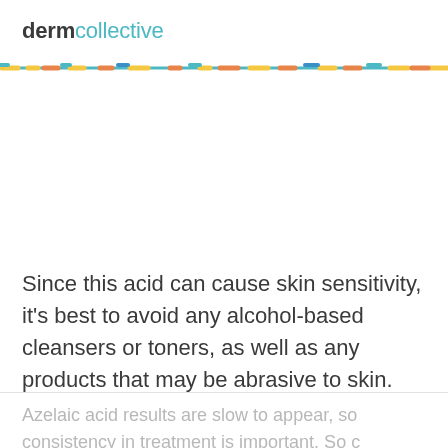dermcollective
[Figure (illustration): Decorative multicolor dashed/segmented bar used as a horizontal divider under the logo]
Since this acid can cause skin sensitivity, it's best to avoid any alcohol-based cleansers or toners, as well as any products that may be abrasive to skin.
Azelaic acid results are slow to appear, so consistency in treatment is important. So c